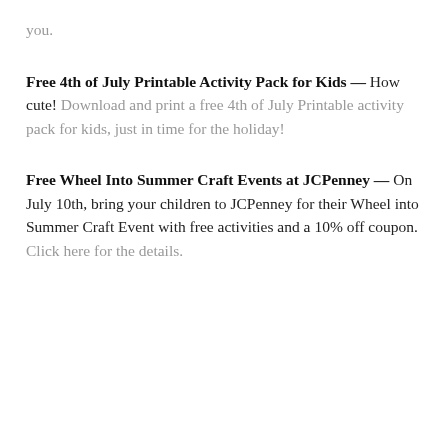you.
Free 4th of July Printable Activity Pack for Kids — How cute! Download and print a free 4th of July Printable activity pack for kids, just in time for the holiday!
Free Wheel Into Summer Craft Events at JCPenney — On July 10th, bring your children to JCPenney for their Wheel into Summer Craft Event with free activities and a 10% off coupon. Click here for the details.